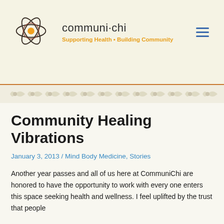[Figure (logo): CommuniChi logo: hand-drawn flower/atom shape with orange center circle and dark outlines]
communi·chi
Supporting Health • Building Community
Community Healing Vibrations
January 3, 2013 / Mind Body Medicine, Stories
Another year passes and all of us here at CommuniChi are honored to have the opportunity to work with every one enters this space seeking health and wellness. I feel uplifted by the trust that people